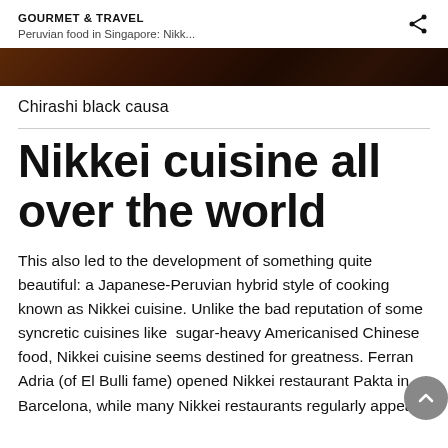GOURMET & TRAVEL
Peruvian food in Singapore: Nikk...
[Figure (photo): Dark brown food photography strip — close-up of a dish against a dark background]
Chirashi black causa
Nikkei cuisine all over the world
This also led to the development of something quite beautiful: a Japanese-Peruvian hybrid style of cooking known as Nikkei cuisine. Unlike the bad reputation of some syncretic cuisines like sugar-heavy Americanised Chinese food, Nikkei cuisine seems destined for greatness. Ferran Adria (of El Bulli fame) opened Nikkei restaurant Pakta in Barcelona, while many Nikkei restaurants regularly appear